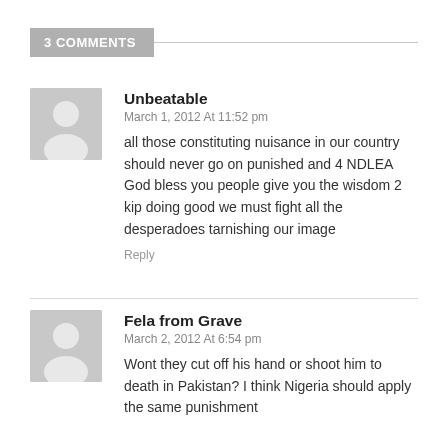3 COMMENTS
Unbeatable
March 1, 2012 At 11:52 pm
all those constituting nuisance in our country should never go on punished and 4 NDLEA God bless you people give you the wisdom 2 kip doing good we must fight all the desperadoes tarnishing our image
Reply
Fela from Grave
March 2, 2012 At 6:54 pm
Wont they cut off his hand or shoot him to death in Pakistan? I think Nigeria should apply the same punishment